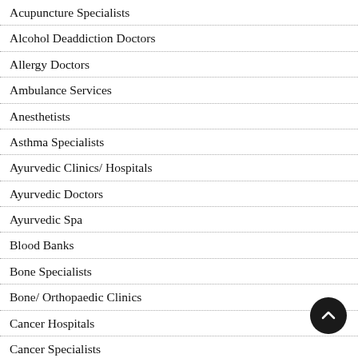Acupuncture Specialists
Alcohol Deaddiction Doctors
Allergy Doctors
Ambulance Services
Anesthetists
Asthma Specialists
Ayurvedic Clinics/ Hospitals
Ayurvedic Doctors
Ayurvedic Spa
Blood Banks
Bone Specialists
Bone/ Orthopaedic Clinics
Cancer Hospitals
Cancer Specialists
Cardiac Surgeon
Cardiologists
Chemists